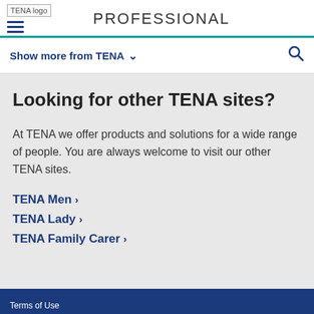TENA logo | PROFESSIONAL
Show more from TENA ∨
Looking for other TENA sites?
At TENA we offer products and solutions for a wide range of people. You are always welcome to visit our other TENA sites.
TENA Men >
TENA Lady >
TENA Family Carer >
Terms of Use